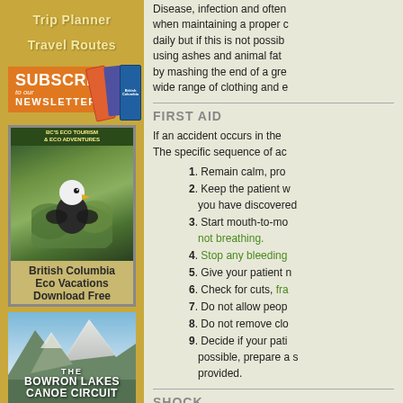Trip Planner
Travel Routes
[Figure (infographic): Subscribe to our Newsletters banner with book covers]
[Figure (photo): British Columbia Eco Vacations Download Free - eagle photo book cover]
[Figure (photo): The Bowron Lakes Canoe Circuit - mountain landscape photo]
Disease, infection and often when maintaining a proper daily but if this is not possible using ashes and animal fat by mashing the end of a gre wide range of clothing and e
FIRST AID
If an accident occurs in the The specific sequence of ac
1. Remain calm, pro
2. Keep the patient w you have discovered
3. Start mouth-to-mo not breathing.
4. Stop any bleeding
5. Give your patient n
6. Check for cuts, fra
7. Do not allow peop
8. Do not remove clo
9. Decide if your pati possible, prepare a s provided.
SHOCK